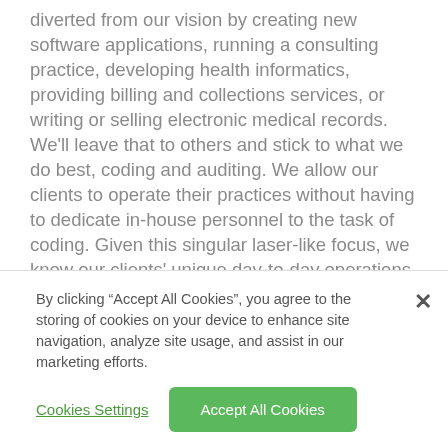diverted from our vision by creating new software applications, running a consulting practice, developing health informatics, providing billing and collections services, or writing or selling electronic medical records. We'll leave that to others and stick to what we do best, coding and auditing. We allow our clients to operate their practices without having to dedicate in-house personnel to the task of coding. Given this singular laser-like focus, we know our clients' unique day-to-day operations and how to help them keep pace with a dynamic
By clicking “Accept All Cookies”, you agree to the storing of cookies on your device to enhance site navigation, analyze site usage, and assist in our marketing efforts.
Cookies Settings
Accept All Cookies